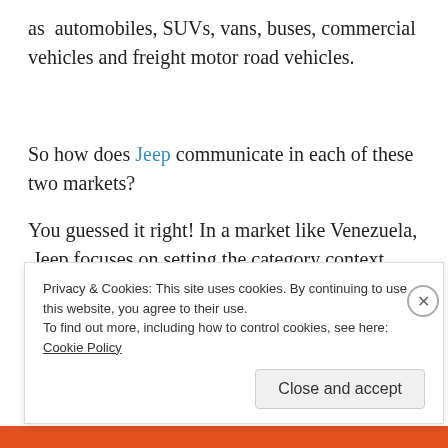as automobiles, SUVs, vans, buses, commercial vehicles and freight motor road vehicles.
So how does Jeep communicate in each of these two markets?
You guessed it right! In a market like Venezuela, Jeep focuses on setting the category context first – i.e. it's
Privacy & Cookies: This site uses cookies. By continuing to use this website, you agree to their use.
To find out more, including how to control cookies, see here: Cookie Policy